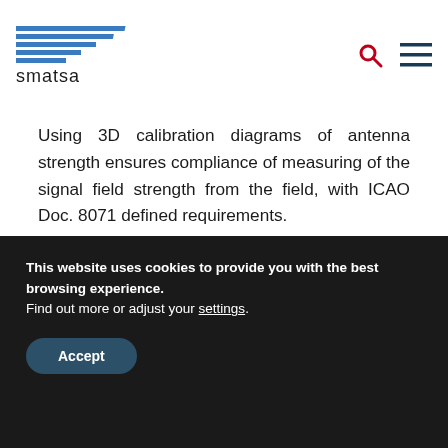[Figure (logo): SMATSA logo with blue horizontal lines and brand name 'smatsa']
Using 3D calibration diagrams of antenna strength ensures compliance of measuring of the signal field strength from the field, with ICAO Doc. 8071 defined requirements.
[Figure (illustration): Navy blue angular geometric banner with dark teal triangle shape]
This website uses cookies to provide you with the best browsing experience. Find out more or adjust your settings.
Accept